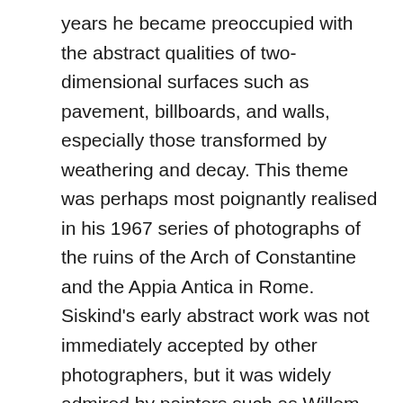years he became preoccupied with the abstract qualities of two-dimensional surfaces such as pavement, billboards, and walls, especially those transformed by weathering and decay. This theme was perhaps most poignantly realised in his 1967 series of photographs of the ruins of the Arch of Constantine and the Appia Antica in Rome. Siskind's early abstract work was not immediately accepted by other photographers, but it was widely admired by painters such as Willem de Kooning and Franz Kline, who were associated with Abstract Expressionism. He in fact, exhibited his abstract photographs with these artists' paintings.